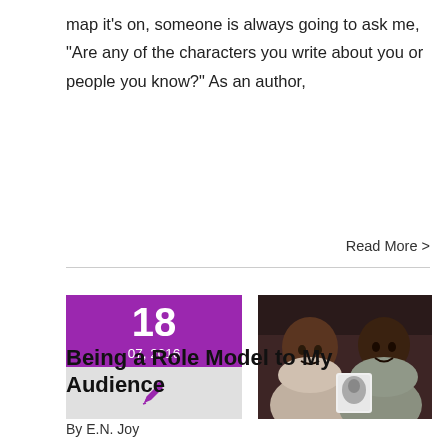map it's on, someone is always going to ask me, "Are any of the characters you write about you or people you know?" As an author,
Read More >
[Figure (photo): Date badge showing 18 / 07, 2016 in purple with pen icon below, alongside a photo of two women smiling, one holding a book]
Being a Role Model to My Audience
By E.N. Joy